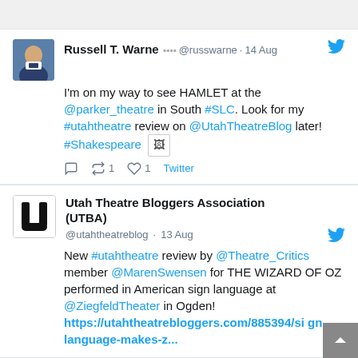[Figure (screenshot): Twitter/social media feed showing two tweets. First tweet from Russell T. Warne about seeing HAMLET at the @parker_theatre. Second tweet from Utah Theatre Bloggers Association (UTBA) about a review of THE WIZARD OF OZ in American sign language.]